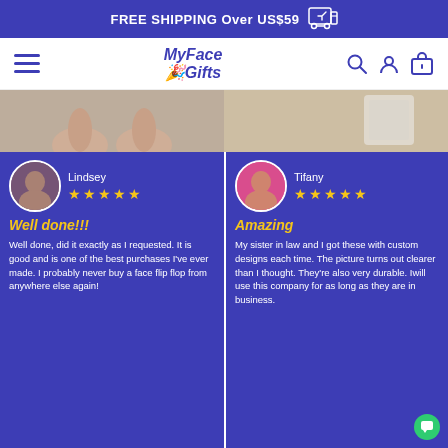FREE SHIPPING Over US$59
[Figure (screenshot): MyFaceGifts navigation bar with hamburger menu, logo, search, account, and cart icons]
[Figure (photo): Photo of person's feet on carpet (left side)]
[Figure (photo): Photo of mugs on table (right side)]
Lindsey ★★★★★ Well done!!! Well done, did it exactly as I requested. It is good and is one of the best purchases I've ever made. I probably never buy a face flip flop from anywhere else again!
Tifany ★★★★★ Amazing My sister in law and I got these with custom designs each time. The picture turns out clearer than I thought. They're also very durable. Iwill use this company for as long as they are in business.